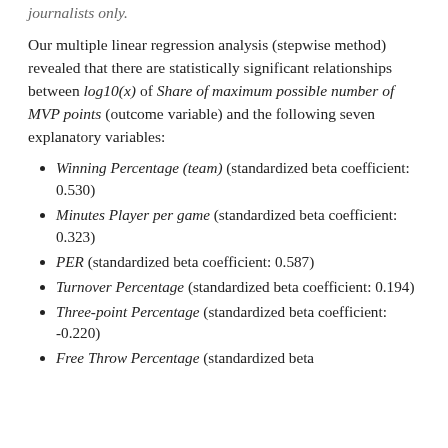journalists only.
Our multiple linear regression analysis (stepwise method) revealed that there are statistically significant relationships between log10(x) of Share of maximum possible number of MVP points (outcome variable) and the following seven explanatory variables:
Winning Percentage (team) (standardized beta coefficient: 0.530)
Minutes Player per game (standardized beta coefficient: 0.323)
PER (standardized beta coefficient: 0.587)
Turnover Percentage (standardized beta coefficient: 0.194)
Three-point Percentage (standardized beta coefficient: -0.220)
Free Throw Percentage (standardized beta